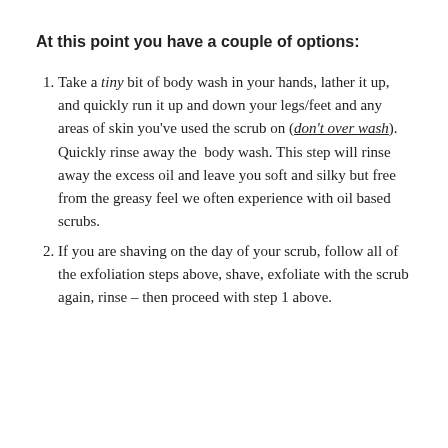At this point you have a couple of options:
Take a tiny bit of body wash in your hands, lather it up, and quickly run it up and down your legs/feet and any areas of skin you've used the scrub on (don't over wash). Quickly rinse away the body wash. This step will rinse away the excess oil and leave you soft and silky but free from the greasy feel we often experience with oil based scrubs.
If you are shaving on the day of your scrub, follow all of the exfoliation steps above, shave, exfoliate with the scrub again, rinse – then proceed with step 1 above.